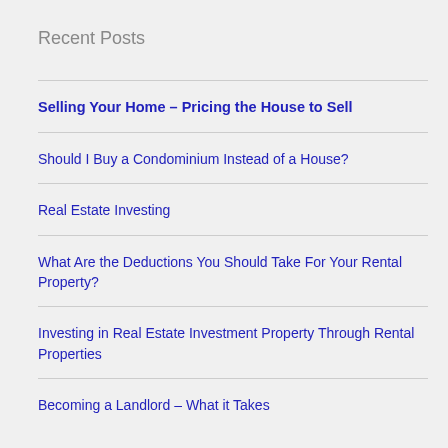Recent Posts
Selling Your Home – Pricing the House to Sell
Should I Buy a Condominium Instead of a House?
Real Estate Investing
What Are the Deductions You Should Take For Your Rental Property?
Investing in Real Estate Investment Property Through Rental Properties
Becoming a Landlord – What it Takes